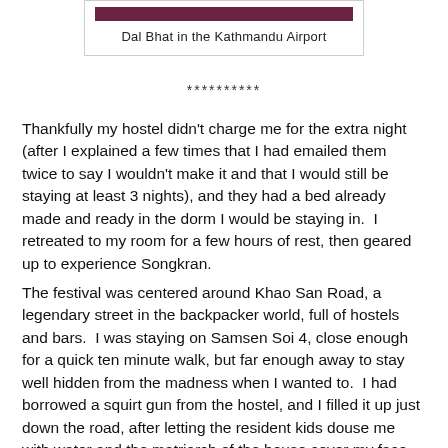Dal Bhat in the Kathmandu Airport
**********
Thankfully my hostel didn't charge me for the extra night (after I explained a few times that I had emailed them twice to say I wouldn't make it and that I would still be staying at least 3 nights), and they had a bed already made and ready in the dorm I would be staying in.  I retreated to my room for a few hours of rest, then geared up to experience Songkran.
The festival was centered around Khao San Road, a legendary street in the backpacker world, full of hostels and bars.  I was staying on Samsen Soi 4, close enough for a quick ten minute walk, but far enough away to stay well hidden from the madness when I wanted to.  I had borrowed a squirt gun from the hostel, and I filled it up just down the road, after letting the resident kids douse me with water and the matriarch of the house cover my face and arms in a white clay substance.  I arrived at the festivities a bit early,